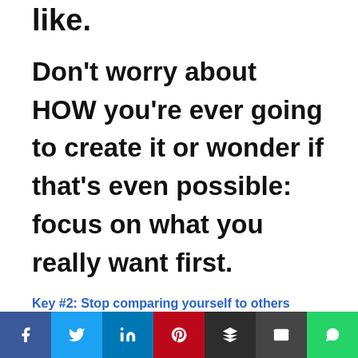like.
Don't worry about HOW you're ever going to create it or wonder if that's even possible: focus on what you really want first.
Key #2: Stop comparing yourself to others
There is absolutely no
[Figure (infographic): Social media share bar with icons: Facebook (blue), Twitter (light blue), LinkedIn (dark blue), Pinterest (red), Buffer (dark), Email (dark gray), WhatsApp (green)]